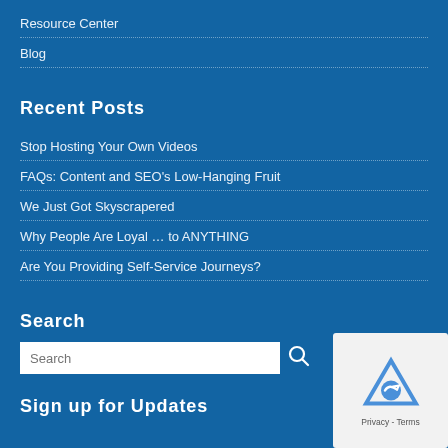Resource Center
Blog
Recent Posts
Stop Hosting Your Own Videos
FAQs: Content and SEO's Low-Hanging Fruit
We Just Got Skyscrapered
Why People Are Loyal … to ANYTHING
Are You Providing Self-Service Journeys?
Search
Search
Sign up for Updates
[Figure (logo): reCAPTCHA logo with Privacy and Terms text]